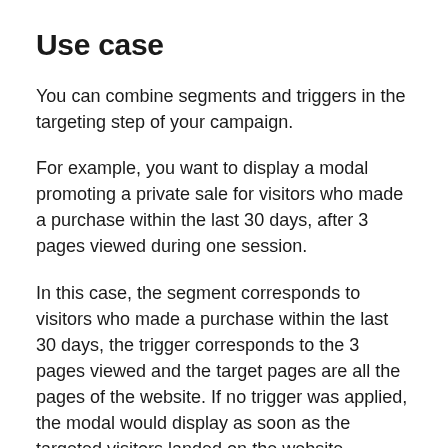Use case
You can combine segments and triggers in the targeting step of your campaign.
For example, you want to display a modal promoting a private sale for visitors who made a purchase within the last 30 days, after 3 pages viewed during one session.
In this case, the segment corresponds to visitors who made a purchase within the last 30 days, the trigger corresponds to the 3 pages viewed and the target pages are all the pages of the website. If no trigger was applied, the modal would display as soon as the targeted visitors landed on the website.
Start by defining your campaign segment. To do